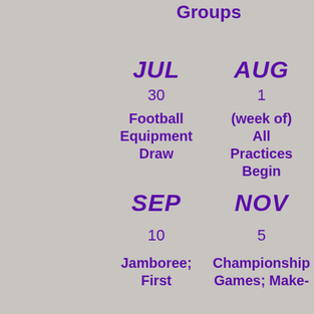Groups
JUL
30
Football Equipment Draw
AUG
1
(week of) All Practices Begin
SEP
10
Jamboree; First
NOV
5
Championship Games; Make-